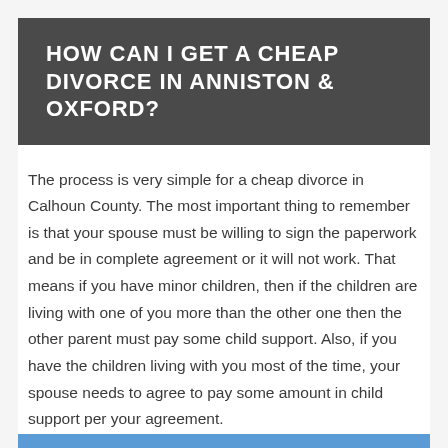HOW CAN I GET A CHEAP DIVORCE IN ANNISTON & OXFORD?
The process is very simple for a cheap divorce in Calhoun County. The most important thing to remember is that your spouse must be willing to sign the paperwork and be in complete agreement or it will not work. That means if you have minor children, then if the children are living with one of you more than the other one then the other parent must pay some child support. Also, if you have the children living with you most of the time, your spouse needs to agree to pay some amount in child support per your agreement.